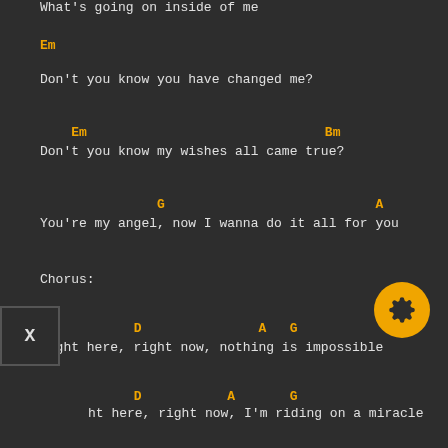What's going on inside of me
Em
Don't you know you have changed me?
Em                                    Bm
Don't you know my wishes all came true?
G                           A
You're my angel, now I wanna do it all for you
Chorus:
D               A   G
Right here, right now, nothing is impossible
D           A       G
ht here, right now, I'm riding on a miracle
D                     A
I see your face and I feel your love
G